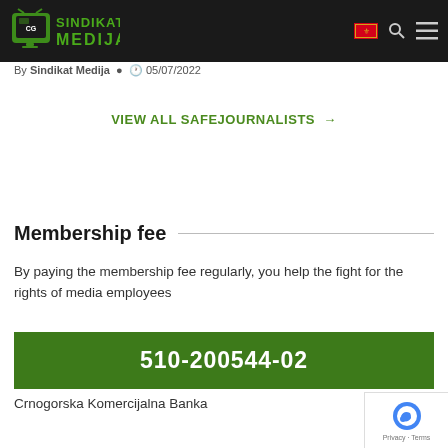[Figure (logo): Sindikat Medija logo with green TV icon and text on dark navbar, with flag, search, and menu icons]
By Sindikat Medija  05/07/2022
VIEW ALL SAFEJOURNALISTS →
Membership fee
By paying the membership fee regularly, you help the fight for the rights of media employees
510-200544-02
Crnogorska Komercijalna Banka